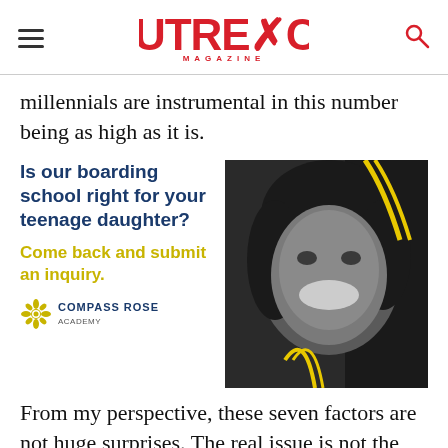Outreach Magazine
millennials are instrumental in this number being as high as it is.
[Figure (illustration): Advertisement for Compass Rose Academy boarding school featuring text 'Is our boarding school right for your teenage daughter? Come back and submit an inquiry.' alongside a black-and-white photo of a smiling teenage girl with curly hair wearing a jacket with yellow stripes.]
From my perspective, these seven factors are not huge surprises. The real issue is not the intrigue of